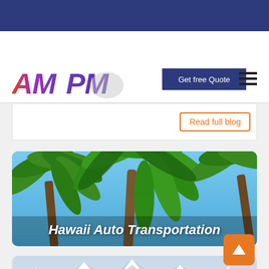AMPM Auto Transport
Get free Quote
Read full blog
[Figure (photo): Hawaii auto transportation banner with palm trees against blue sky]
Hawaii Auto Transportation
[Figure (photo): Alaska auto transportation banner with snow-capped mountains]
Alaska Auto Transportation